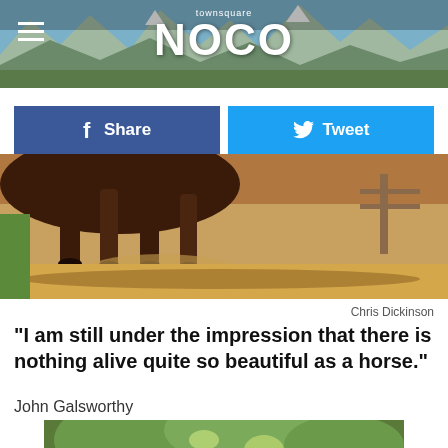[Figure (photo): Townsquare NOCO website header banner with mountain landscape background and hamburger menu icon]
[Figure (screenshot): Social sharing buttons: Facebook Share (dark blue) and Twitter Tweet (light blue)]
[Figure (photo): Close-up photo of a horse's legs galloping on dusty sandy ground, taken from low angle]
Chris Dickinson
"I am still under the impression that there is nothing alive quite so beautiful as a horse."
John Galsworthy
[Figure (photo): Group of people outdoors with green foliage background, partially visible at bottom of page]